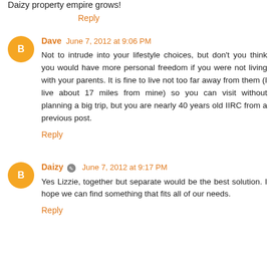Daizy property empire grows!
Reply
Dave  June 7, 2012 at 9:06 PM
Not to intrude into your lifestyle choices, but don't you think you would have more personal freedom if you were not living with your parents. It is fine to live not too far away from them (I live about 17 miles from mine) so you can visit without planning a big trip, but you are nearly 40 years old IIRC from a previous post.
Reply
Daizy  June 7, 2012 at 9:17 PM
Yes Lizzie, together but separate would be the best solution. I hope we can find something that fits all of our needs.
Reply